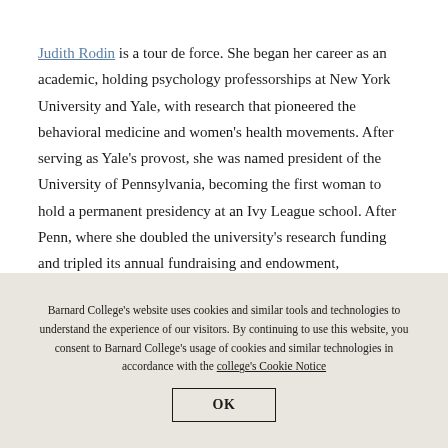Judith Rodin is a tour de force. She began her career as an academic, holding psychology professorships at New York University and Yale, with research that pioneered the behavioral medicine and women's health movements. After serving as Yale's provost, she was named president of the University of Pennsylvania, becoming the first woman to hold a permanent presidency at an Ivy League school. After Penn, where she doubled the university's research funding and tripled its annual fundraising and endowment,
Barnard College's website uses cookies and similar tools and technologies to understand the experience of our visitors. By continuing to use this website, you consent to Barnard College's usage of cookies and similar technologies in accordance with the college's Cookie Notice
OK